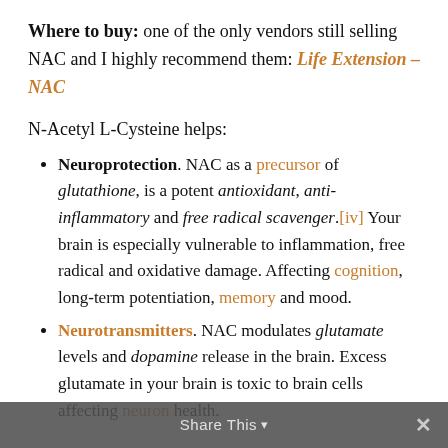Where to buy: one of the only vendors still selling NAC and I highly recommend them: Life Extension – NAC
N-Acetyl L-Cysteine helps:
Neuroprotection. NAC as a precursor of glutathione, is a potent antioxidant, anti-inflammatory and free radical scavenger.[iv] Your brain is especially vulnerable to inflammation, free radical and oxidative damage. Affecting cognition, long-term potentiation, memory and mood.
Neurotransmitters. NAC modulates glutamate levels and dopamine release in the brain. Excess glutamate in your brain is toxic to brain cells affecting neuron health.
Share This ▾ ✕